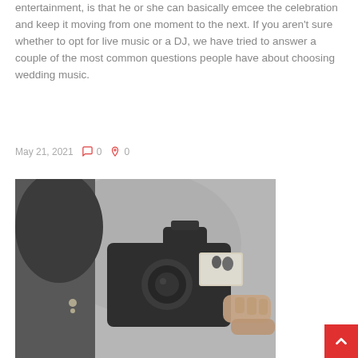entertainment, is that he or she can basically emcee the celebration and keep it moving from one moment to the next. If you aren't sure whether to opt for live music or a DJ, we have tried to answer a couple of the most common questions people have about choosing wedding music.
May 21, 2021   0   0
[Figure (photo): Black and white photo of a person holding a DSLR camera, photographing a couple (visible on the camera screen). The photographer is seen from behind/side, with dark hair and an earring visible.]
[Figure (other): Red back-to-top button with an upward arrow chevron, positioned in the bottom-right corner.]